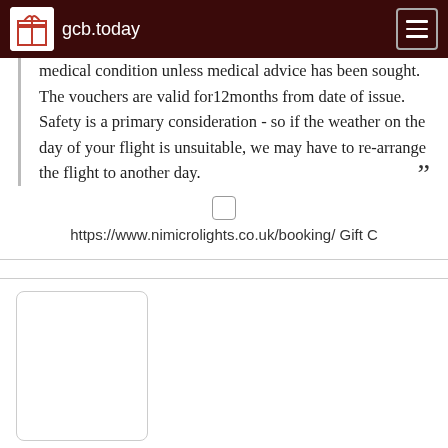gcb.today
medical condition unless medical advice has been sought. The vouchers are valid for12months from date of issue. Safety is a primary consideration - so if the weather on the day of your flight is unsuitable, we may have to re-arrange the flight to another day.
https://www.nimicrolights.co.uk/booking/ Gift C
[Figure (other): Blank white image placeholder with rounded corners and light gray border]